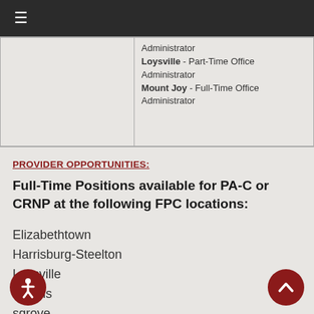≡
|  | Administrator
Loysville - Part-Time Office Administrator
Mount Joy - Full-Time Office Administrator |
PROVIDER OPPORTUNITIES:
Full-Time Positions available for PA-C or CRNP at the following FPC locations:
Elizabethtown
Harrisburg-Steelton
Loysville
Lykens
Cosgrove
Williamsport